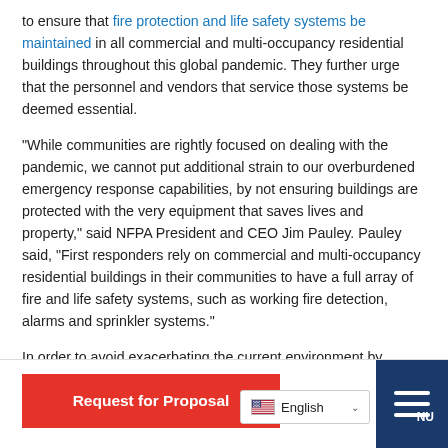to ensure that fire protection and life safety systems be maintained in all commercial and multi-occupancy residential buildings throughout this global pandemic. They further urge that the personnel and vendors that service those systems be deemed essential.
“While communities are rightly focused on dealing with the pandemic, we cannot put additional strain to our overburdened emergency response capabilities, by not ensuring buildings are protected with the very equipment that saves lives and property,” said NFPA President and CEO Jim Pauley. Pauley said, “First responders rely on commercial and multi-occupancy residential buildings in their communities to have a full array of fire and life safety systems, such as working fire detection, alarms and sprinkler systems.”
In order to avoid exacerbating the current environment by compromising fire and life safety, and leaving buildings